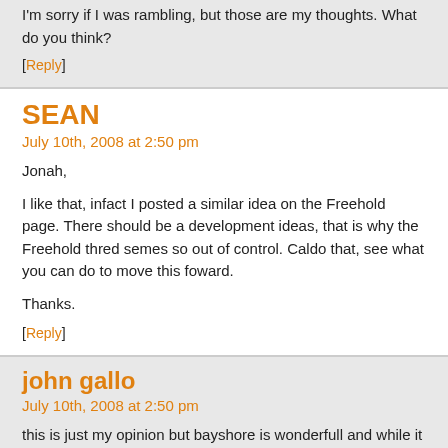I'm sorry if I was rambling, but those are my thoughts. What do you think?
[Reply]
SEAN
July 10th, 2008 at 2:50 pm
Jonah,
I like that, infact I posted a similar idea on the Freehold page. There should be a development ideas, that is why the Freehold thred semes so out of control. Caldo that, see what you can do to move this foward.
Thanks.
[Reply]
john gallo
July 10th, 2008 at 2:50 pm
this is just my opinion but bayshore is wonderfull and while it has its upscle custo them as mayfair dose. it is right on a line ware the inercity north side hits the wea reason i feel for the teens not being a much of a problem as at northridge becaus